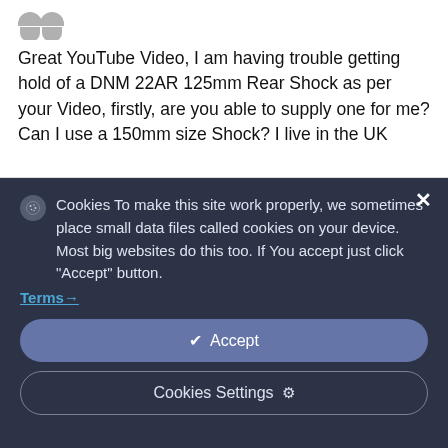Great YouTube Video, I am having trouble getting hold of a DNM 22AR 125mm Rear Shock as per your Video, firstly, are you able to supply one for me? Can I use a 150mm size Shock? I live in the UK
Cookies To make this site work properly, we sometimes place small data files called cookies on your device. Most big websites do this too. If You accept just click "Accept" button.
Terms→
✔ Accept
Cookies Settings ⚙